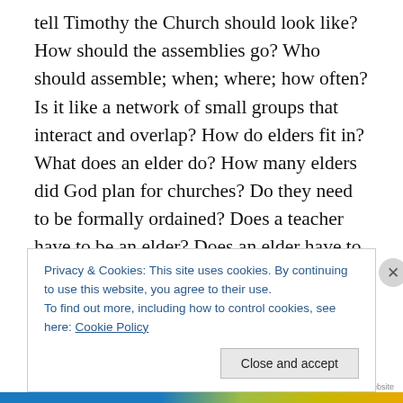tell Timothy the Church should look like? How should the assemblies go? Who should assemble; when; where; how often? Is it like a network of small groups that interact and overlap? How do elders fit in? What does an elder do? How many elders did God plan for churches? Do they need to be formally ordained? Does a teacher have to be an elder? Does an elder have to teach? If they do, is it every week?
*Deep breath* I have a lot of questions. And I have some ideas I'm exploring. Some might ask how relevant my
Privacy & Cookies: This site uses cookies. By continuing to use this website, you agree to their use.
To find out more, including how to control cookies, see here: Cookie Policy